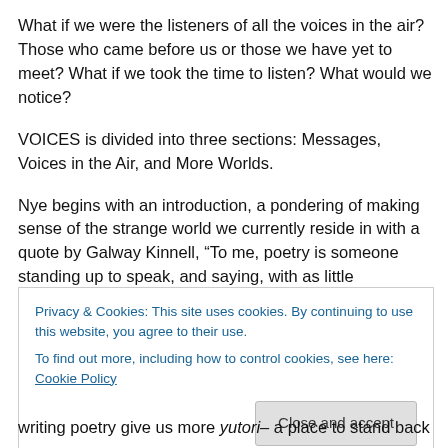What if we were the listeners of all the voices in the air? Those who came before us or those we have yet to meet? What if we took the time to listen? What would we notice?
VOICES is divided into three sections: Messages, Voices in the Air, and More Worlds.
Nye begins with an introduction, a pondering of making sense of the strange world we currently reside in with a quote by Galway Kinnell, “To me, poetry is someone standing up to speak, and saying, with as little
Privacy & Cookies: This site uses cookies. By continuing to use this website, you agree to their use.
To find out more, including how to control cookies, see here: Cookie Policy
writing poetry give us more yutori– a place to stand back